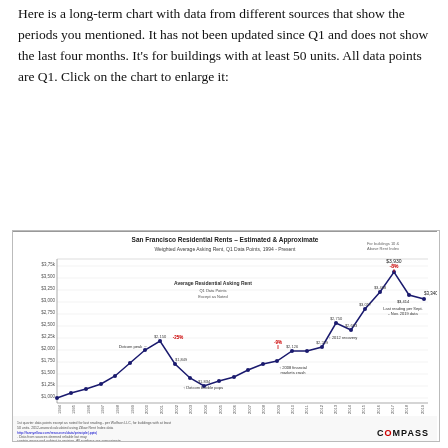Here is a long-term chart with data from different sources that show the periods you mentioned. It has not been updated since Q1 and does not show the last four months. It's for buildings with at least 50 units. All data points are Q1. Click on the chart to enlarge it:
[Figure (line-chart): Line chart showing SF residential asking rents from 1994 to present with dotcom peak, 2008 financial crisis, 2012 recovery, and recent decline annotations]